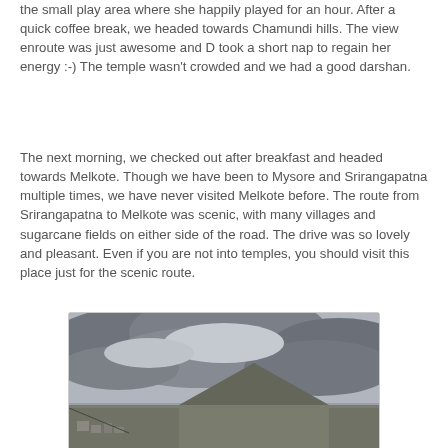the small play area where she happily played for an hour. After a quick coffee break, we headed towards Chamundi hills. The view enroute was just awesome and D took a short nap to regain her energy :-) The temple wasn't crowded and we had a good darshan.
The next morning, we checked out after breakfast and headed towards Melkote. Though we have been to Mysore and Srirangapatna multiple times, we have never visited Melkote before. The route from Srirangapatna to Melkote was scenic, with many villages and sugarcane fields on either side of the road. The drive was so lovely and pleasant. Even if you are not into temples, you should visit this place just for the scenic route.
[Figure (photo): Landscape photo showing a hill or mountain in the distance under a dramatic overcast sky with heavy clouds. The foreground shows a valley with some structures visible at the lower left.]